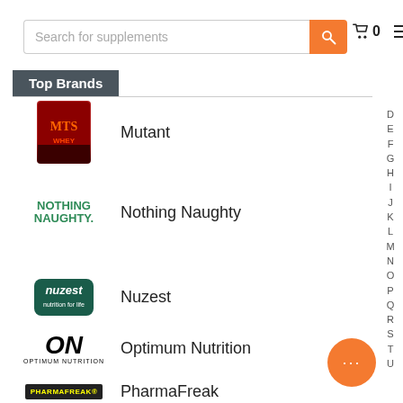[Figure (screenshot): Search bar with orange search button, cart icon with 0, and hamburger menu]
Top Brands
Mutant
Nothing Naughty
Nuzest
Optimum Nutrition
PharmaFreak
PranaOn